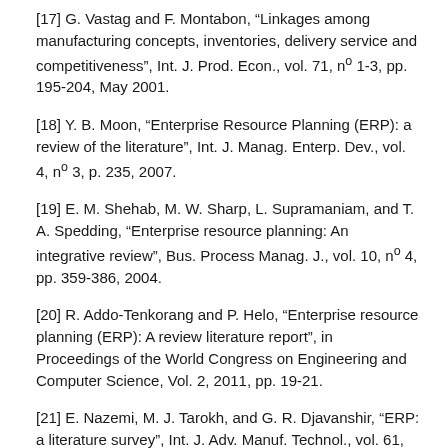[17] G. Vastag and F. Montabon, “Linkages among manufacturing concepts, inventories, delivery service and competitiveness”, Int. J. Prod. Econ., vol. 71, nº 1-3, pp. 195-204, May 2001.
[18] Y. B. Moon, “Enterprise Resource Planning (ERP): a review of the literature”, Int. J. Manag. Enterp. Dev., vol. 4, nº 3, p. 235, 2007.
[19] E. M. Shehab, M. W. Sharp, L. Supramaniam, and T. A. Spedding, “Enterprise resource planning: An integrative review”, Bus. Process Manag. J., vol. 10, nº 4, pp. 359-386, 2004.
[20] R. Addo-Tenkorang and P. Helo, “Enterprise resource planning (ERP): A review literature report”, in Proceedings of the World Congress on Engineering and Computer Science, Vol. 2, 2011, pp. 19-21.
[21] E. Nazemi, M. J. Tarokh, and G. R. Djavanshir, “ERP: a literature survey”, Int. J. Adv. Manuf. Technol., vol. 61, nº 9-12, pp. 999-1018, Feb. 2012.
[22] M. Haddara and O. Zach, “ERP systems in SMEs: A literature review”, in In System Sciences (HICSS), 2011 44th Hawaii International Conference on, IEEE, pp. 1-10.